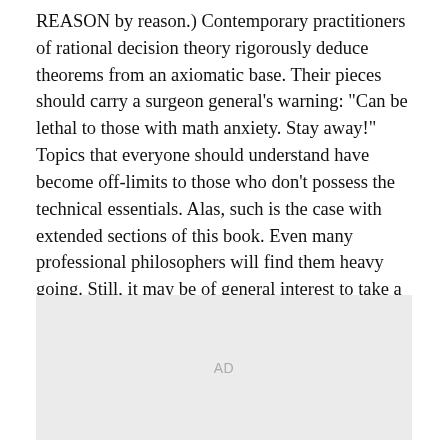REASON by reason.) Contemporary practitioners of rational decision theory rigorously deduce theorems from an axiomatic base. Their pieces should carry a surgeon general's warning: "Can be lethal to those with math anxiety. Stay away!" Topics that everyone should understand have become off-limits to those who don't possess the technical essentials. Alas, such is the case with extended sections of this book. Even many professional philosophers will find them heavy going. Still, it may be of general interest to take a brief overview of Nozick's project.
[Figure (other): Advertisement placeholder box with 'AD' label in gray]
The Nature of Rationality is primarily an exercise in synthesis. Its pervasive theme is the unsatisfactoriness of